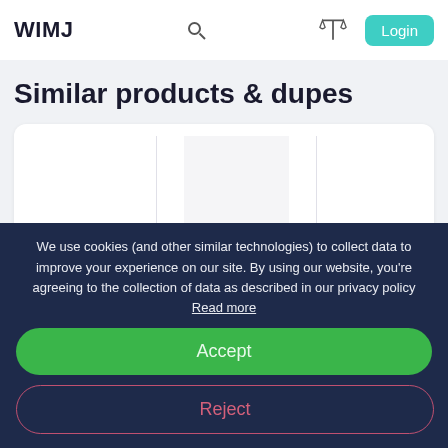WIMJ
Similar products & dupes
[Figure (screenshot): Product cards showing Kose - Clear Turn Premium Royal and Skin Glow London - Eye products with placeholder images]
We use cookies (and other similar technologies) to collect data to improve your experience on our site. By using our website, you're agreeing to the collection of data as described in our privacy policy Read more
Accept
Reject